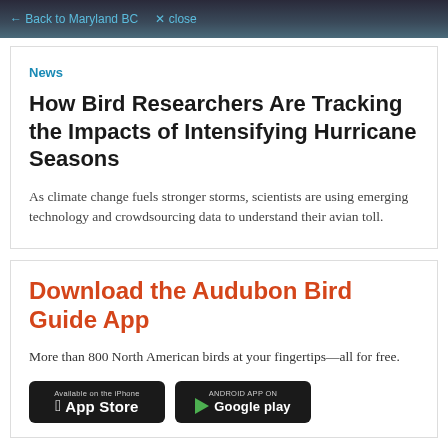← Back to Maryland BC  ✕ close
News
How Bird Researchers Are Tracking the Impacts of Intensifying Hurricane Seasons
As climate change fuels stronger storms, scientists are using emerging technology and crowdsourcing data to understand their avian toll.
Download the Audubon Bird Guide App
More than 800 North American birds at your fingertips—all for free.
[Figure (screenshot): Two app store download badges: Available on the iPhone App Store and Android App on Google play]